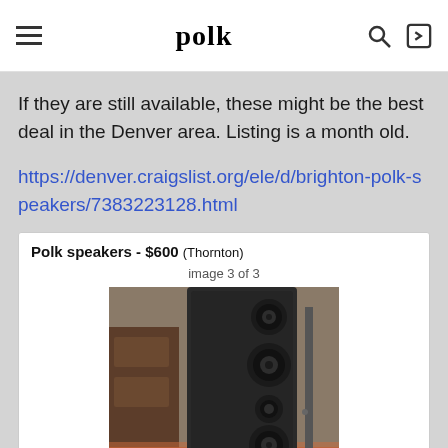polk
If they are still available, these might be the best deal in the Denver area. Listing is a month old.
https://denver.craigslist.org/ele/d/brighton-polk-speakers/7383223128.html
[Figure (screenshot): Screenshot of a Craigslist listing titled 'Polk speakers - $600 (Thornton)' showing image 3 of 3 — a close-up photo of a tall black Polk floor-standing speaker with multiple drivers visible.]